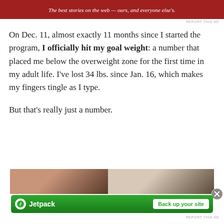[Figure (other): Red banner with italic white text: The best stories on the web — ours, and everyone else's.]
REPORT THIS AD
On Dec. 11, almost exactly 11 months since I started the program, I officially hit my goal weight: a number that placed me below the overweight zone for the first time in my adult life. I've lost 34 lbs. since Jan. 16, which makes my fingers tingle as I type.
But that's really just a number.
[Figure (photo): Two side-by-side photos partially visible at the bottom of the page, showing before/after comparison images.]
Advertisements
[Figure (other): Jetpack advertisement banner: green background with Jetpack logo on left and 'Back up your site' button on right.]
REPORT THIS AD